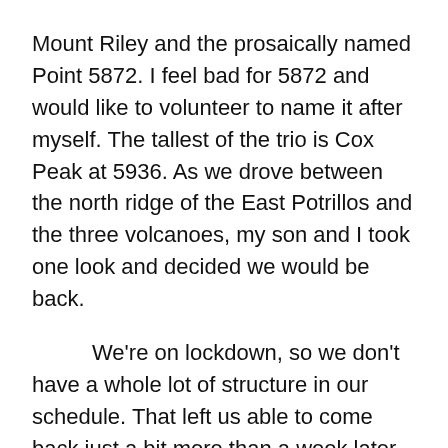Mount Riley and the prosaically named Point 5872. I feel bad for 5872 and would like to volunteer to name it after myself. The tallest of the trio is Cox Peak at 5936. As we drove between the north ridge of the East Potrillos and the three volcanoes, my son and I took one look and decided we would be back.
We're on lockdown, so we don't have a whole lot of structure in our schedule. That left us able to come back just a bit more than a week later. I'm not good at leaving early for hikes, so we didn't even leave the house until after noon. Sticking to the paved roads, we still took more than an hour to get to route 9. I had planned to follow our exact route from the earlier trip, but instead I thought it might be fun to get a good look at the East Potrillo mountains. So, we took a county road that follows their eastern slope. Aside from a few